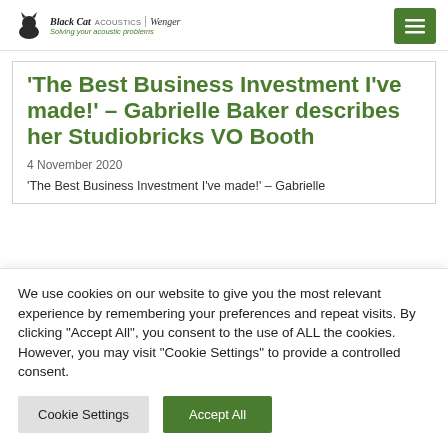Black Cat Acoustics | Wenger — Solving your acoustic problems
'The Best Business Investment I've made!' – Gabrielle Baker describes her Studiobricks VO Booth
4 November 2020
'The Best Business Investment I've made!' – Gabrielle
We use cookies on our website to give you the most relevant experience by remembering your preferences and repeat visits. By clicking "Accept All", you consent to the use of ALL the cookies. However, you may visit "Cookie Settings" to provide a controlled consent.
Cookie Settings | Accept All